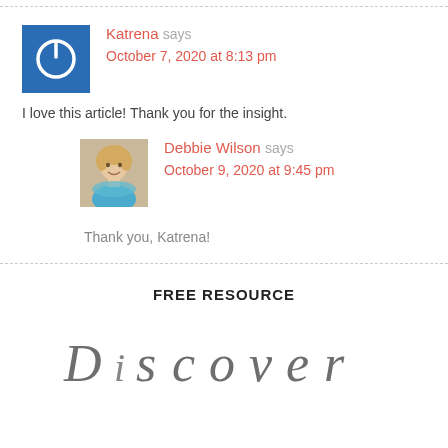[Figure (other): Blue square avatar with white power button icon]
Katrena says
October 7, 2020 at 8:13 pm
I love this article! Thank you for the insight.
[Figure (photo): Photo of Debbie Wilson, a woman with blonde hair and blue top]
Debbie Wilson says
October 9, 2020 at 9:45 pm
Thank you, Katrena!
FREE RESOURCE
[Figure (illustration): Row of decorative script/cursive style icons at bottom of page]